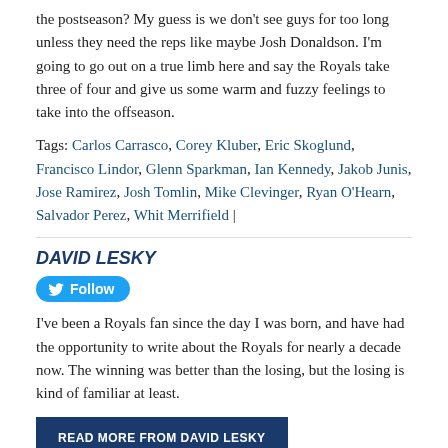the postseason? My guess is we don't see guys for too long unless they need the reps like maybe Josh Donaldson. I'm going to go out on a true limb here and say the Royals take three of four and give us some warm and fuzzy feelings to take into the offseason.
Tags: Carlos Carrasco, Corey Kluber, Eric Skoglund, Francisco Lindor, Glenn Sparkman, Ian Kennedy, Jakob Junis, Jose Ramirez, Josh Tomlin, Mike Clevinger, Ryan O'Hearn, Salvador Perez, Whit Merrifield |
DAVID LESKY
Follow
I've been a Royals fan since the day I was born, and have had the opportunity to write about the Royals for nearly a decade now. The winning was better than the losing, but the losing is kind of familiar at least.
READ MORE FROM DAVID LESKY